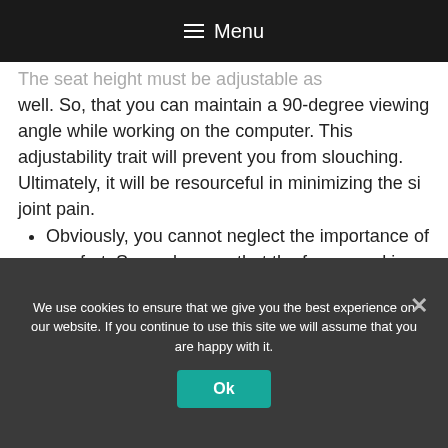Menu
The seat height must be adjustable as well. So, that you can maintain a 90-degree viewing angle while working on the computer. This adjustability trait will prevent you from slouching. Ultimately, it will be resourceful in minimizing the si joint pain.
Obviously, you cannot neglect the importance of comfort. So, make sure that the foam used in the seat and back is of premium quality, denser, and resilient.
We use cookies to ensure that we give you the best experience on our website. If you continue to use this site we will assume that you are happy with it.